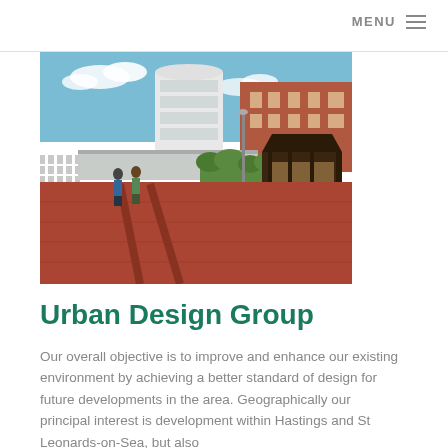MENU
[Figure (photo): Photograph of a seafront promenade with red brick paving, a dark wooden gazebo/shelter on the right, people walking, white railings on the left, and buildings including a white cylindrical modernist building and red brick Georgian-style buildings in the background under a blue sky.]
Urban Design Group
Our overall objective is to improve and enhance our existing environment by achieving a better standard of design for future developments in the area. Geographically our principal interest is development within Hastings and St Leonards-on-Sea, but also